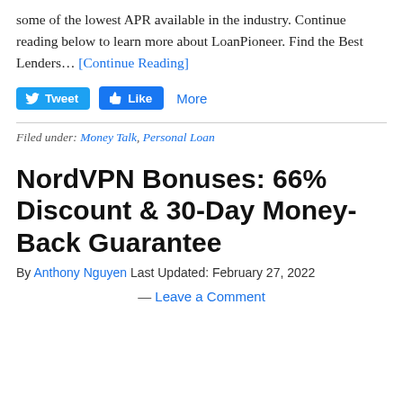some of the lowest APR available in the industry. Continue reading below to learn more about LoanPioneer. Find the Best Lenders… [Continue Reading]
[Figure (other): Social sharing buttons: Tweet (Twitter), Like (Facebook), and More link]
Filed under: Money Talk, Personal Loan
NordVPN Bonuses: 66% Discount & 30-Day Money-Back Guarantee
By Anthony Nguyen Last Updated: February 27, 2022
— Leave a Comment